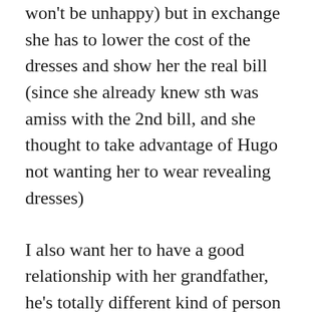won't be unhappy) but in exchange she has to lower the cost of the dresses and show her the real bill (since she already knew sth was amiss with the 2nd bill, and she thought to take advantage of Hugo not wanting her to wear revealing dresses)
I also want her to have a good relationship with her grandfather, he's totally different kind of person compared to the king. Lucia's grandpa did care a lot for his family, however he was too busy trying to keep the family afloat and work became the only way he could care for them, taking up so much time that he could only neglect caring for them personally and showing them affection. So he is fundamentally different from the King, who didn't even care about